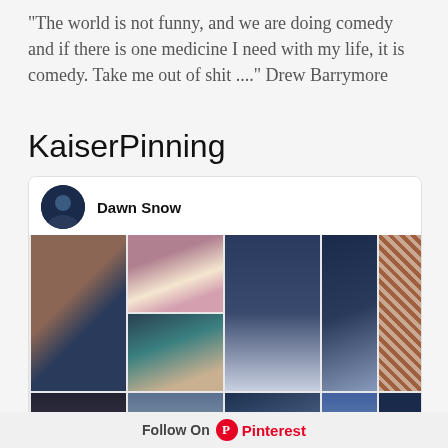"The world is not funny, and we are doing comedy and if there is one medicine I need with my life, it is comedy. Take me out of shit ...." Drew Barrymore
KaiserPinning
[Figure (screenshot): Pinterest board screenshot showing Dawn Snow's pinboard with multiple interior design photos featuring navy blue bedroom and living room decor, with a Follow On Pinterest button at the bottom.]